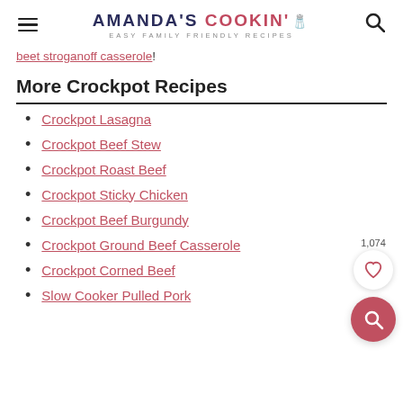AMANDA'S COOKIN' — EASY FAMILY FRIENDLY RECIPES
beet stroganoff casserole!
More Crockpot Recipes
Crockpot Lasagna
Crockpot Beef Stew
Crockpot Roast Beef
Crockpot Sticky Chicken
Crockpot Beef Burgundy
Crockpot Ground Beef Casserole
Crockpot Corned Beef
Slow Cooker Pulled Pork